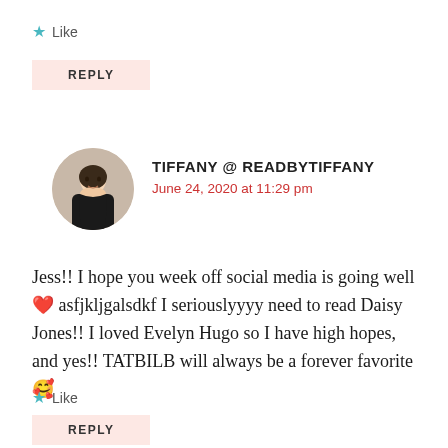★ Like
REPLY
TIFFANY @ READBYTIFFANY
June 24, 2020 at 11:29 pm
Jess!! I hope you week off social media is going well ❤ asfjkljgalsdkf I seriouslyyyy need to read Daisy Jones!! I loved Evelyn Hugo so I have high hopes, and yes!! TATBILB will always be a forever favorite 🥰
★ Like
REPLY